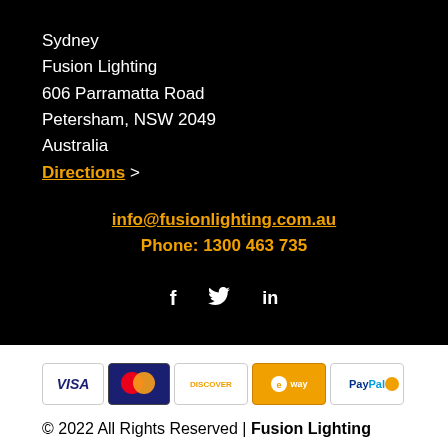Sydney
Fusion Lighting
606 Parramatta Road
Petersham, NSW 2049
Australia
Directions >
info@fusionlighting.com.au
Phone: 1300 463 735
[Figure (infographic): Social media icons: Facebook (f), Twitter (bird), LinkedIn (in)]
[Figure (infographic): Payment method logos: VISA, Mastercard, Discover, eway, PayPal]
© 2022 All Rights Reserved | Fusion Lighting